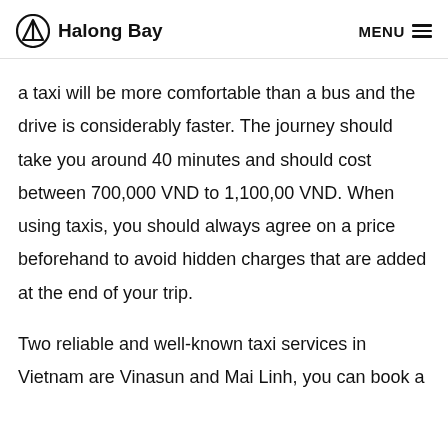Halong Bay   MENU
a taxi will be more comfortable than a bus and the drive is considerably faster. The journey should take you around 40 minutes and should cost between 700,000 VND to 1,100,00 VND. When using taxis, you should always agree on a price beforehand to avoid hidden charges that are added at the end of your trip.
Two reliable and well-known taxi services in Vietnam are Vinasun and Mai Linh, you can book a